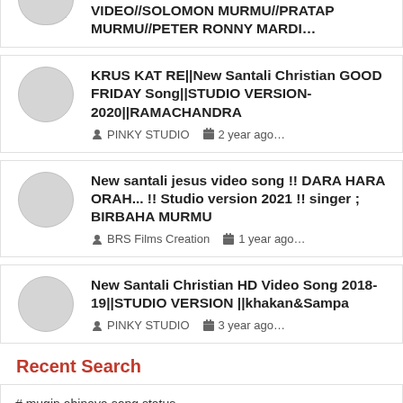VIDEO//SOLOMON MURMU//PRATAP MURMU//PETER RONNY MARDI…
KRUS KAT RE||New Santali Christian GOOD FRIDAY Song||STUDIO VERSION-2020||RAMACHANDRA
PINKY STUDIO  2 year ago…
New santali jesus video song !! DARA HARA ORAH... !! Studio version 2021 !! singer ; BIRBAHA MURMU
BRS Films Creation  1 year ago…
New Santali Christian HD Video Song 2018-19||STUDIO VERSION ||khakan&Sampa
PINKY STUDIO  3 year ago…
Recent Search
# mugin abinaya song status